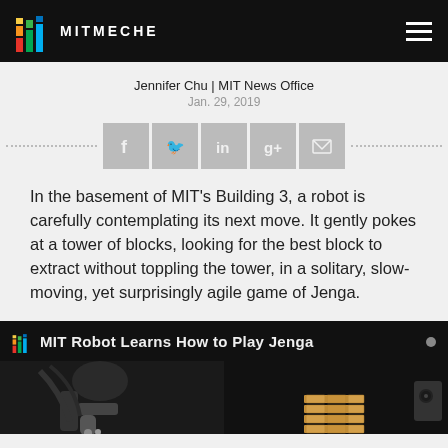MITMECHE
Jennifer Chu | MIT News Office
Jan. 29, 2019
[Figure (infographic): Social share buttons row: Facebook, Twitter, LinkedIn, Google+, Email icons in grey, flanked by dotted lines]
In the basement of MIT’s Building 3, a robot is carefully contemplating its next move. It gently pokes at a tower of blocks, looking for the best block to extract without toppling the tower, in a solitary, slow-moving, yet surprisingly agile game of Jenga.
[Figure (screenshot): Video thumbnail with MIT MechE logo and title 'MIT Robot Learns How to Play Jenga', showing a robotic arm and a Jenga block tower on a dark background]